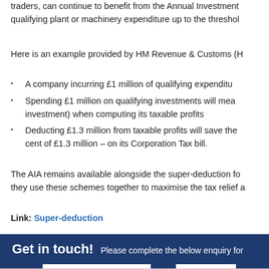traders, can continue to benefit from the Annual Investment qualifying plant or machinery expenditure up to the threshol
Here is an example provided by HM Revenue & Customs (H
A company incurring £1 million of qualifying expenditu
Spending £1 million on qualifying investments will mea investment) when computing its taxable profits
Deducting £1.3 million from taxable profits will save th cent of £1.3 million – on its Corporation Tax bill.
The AIA remains available alongside the super-deduction fo they use these schemes together to maximise the tax relief a
Link: Super-deduction
Get in touch!  Please complete the below enquiry for
Name:  Tel: